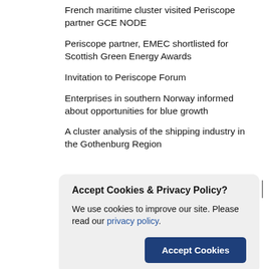French maritime cluster visited Periscope partner GCE NODE
Periscope partner, EMEC shortlisted for Scottish Green Energy Awards
Invitation to Periscope Forum
Enterprises in southern Norway informed about opportunities for blue growth
A cluster analysis of the shipping industry in the Gothenburg Region
[Figure (screenshot): Cookie consent dialog with title 'Accept Cookies & Privacy Policy?', body text 'We use cookies to improve our site. Please read our privacy policy.', and an 'Accept Cookies' button.]
Robotic system to tackle subsea biofouling will be tested in Orkney at Periscope partner EMEC